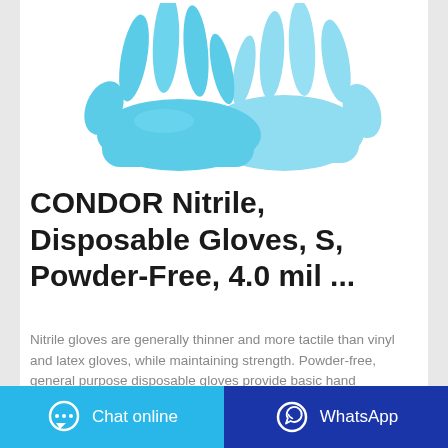[Figure (photo): Two light blue nitrile disposable gloves against a white background]
CONDOR Nitrile, Disposable Gloves, S, Powder-Free, 4.0 mil ...
Nitrile gloves are generally thinner and more tactile than vinyl and latex gloves, while maintaining strength. Powder-free, general purpose disposable gloves provide basic hand protection against non-hazardous materials and do not have a powder coating inside the glove, reducing the risk of allergic reactions and contamination.
Chat online   WhatsApp